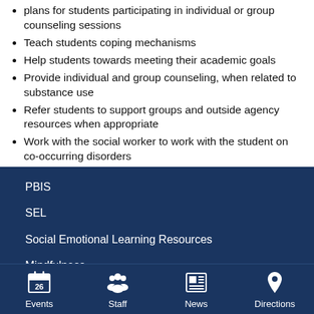plans for students participating in individual or group counseling sessions
Teach students coping mechanisms
Help students towards meeting their academic goals
Provide individual and group counseling, when related to substance use
Refer students to support groups and outside agency resources when appropriate
Work with the social worker to work with the student on co-occurring disorders
PBIS
SEL
Social Emotional Learning Resources
Mindfulness
Events  Staff  News  Directions